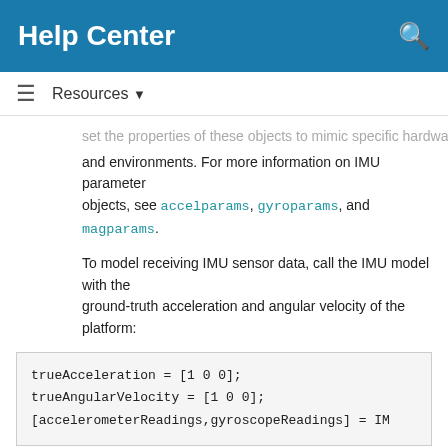Help Center
Resources ▼
set the properties of these objects to mimic specific hardware and environments. For more information on IMU parameter objects, see accelparams, gyroparams, and magparams.
To model receiving IMU sensor data, call the IMU model with the ground-truth acceleration and angular velocity of the platform:
trueAcceleration = [1 0 0];
trueAngularVelocity = [1 0 0];
[accelerometerReadings,gyroscopeReadings] = IM
accelerometerReadings =

   -1.0000        0    9.8100


gyroscopeReadings =

        1        0        0